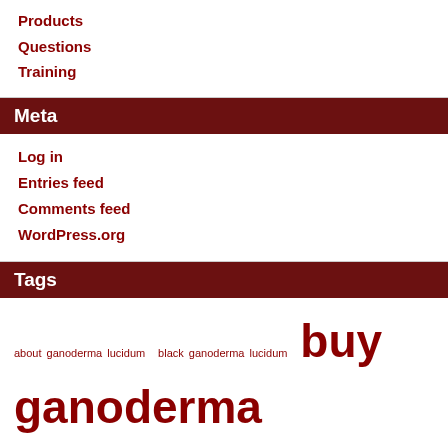Products
Questions
Training
Meta
Log in
Entries feed
Comments feed
WordPress.org
Tags
about ganoderma lucidum black ganoderma lucidum buy ganoderma lucidum c ganoderma lucidum fungus ganoderma lucidum ganoderma lucidum acheter ganoderma lucidum asthma ganoderma lucidum canada ganoderma lucidum cardiovascular ganoderma lucidum coffee ganoderma